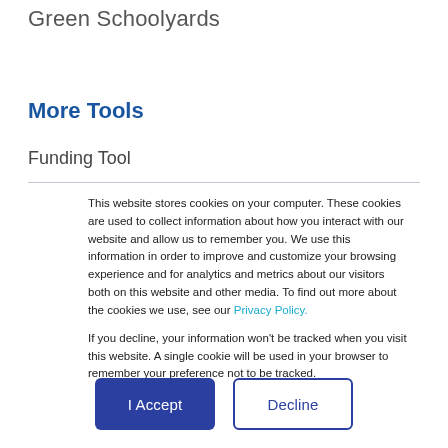Green Schoolyards
More Tools
Funding Tool
This website stores cookies on your computer. These cookies are used to collect information about how you interact with our website and allow us to remember you. We use this information in order to improve and customize your browsing experience and for analytics and metrics about our visitors both on this website and other media. To find out more about the cookies we use, see our Privacy Policy.

If you decline, your information won't be tracked when you visit this website. A single cookie will be used in your browser to remember your preference not to be tracked.
I Accept
Decline